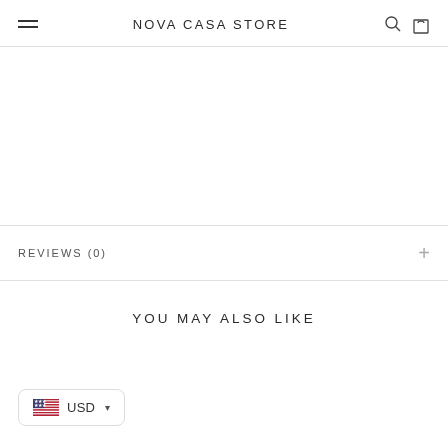NOVA CASA STORE
REVIEWS (0)
YOU MAY ALSO LIKE
USD